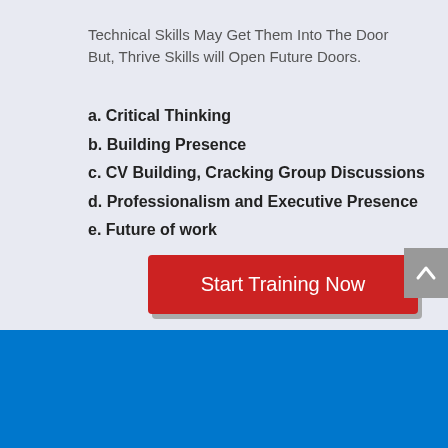Technical Skills May Get Them Into The Door But, Thrive Skills will Open Future Doors.
a. Critical Thinking
b. Building Presence
c. CV Building, Cracking Group Discussions
d. Professionalism and Executive Presence
e. Future of work
Start Training Now
Our Classroom Ses…
Chat